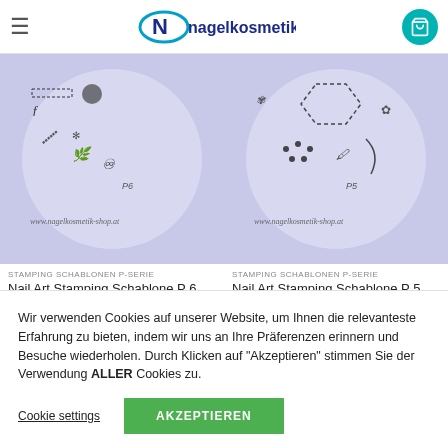Nagelkosmetik
[Figure (photo): Nail Art Stamping Schablone P6 product image on purple/lavender circle background with nail art designs and www.nagelkosmetik-shop.at watermark]
STAMPING SCHABLONEN P-SERIE
Nail Art Stamping Schablone P 6
[Figure (photo): Nail Art Stamping Schablone P5 product image on purple/lavender circle background with nail art designs and www.nagelkosmetik-shop.at watermark]
STAMPING SCHABLONEN P-SERIE
Nail Art Stamping Schablone P 5
Wir verwenden Cookies auf unserer Website, um Ihnen die relevanteste Erfahrung zu bieten, indem wir uns an Ihre Präferenzen erinnern und Besuche wiederholen. Durch Klicken auf "Akzeptieren" stimmen Sie der Verwendung ALLER Cookies zu.
Cookie settings
AKZEPTIEREN